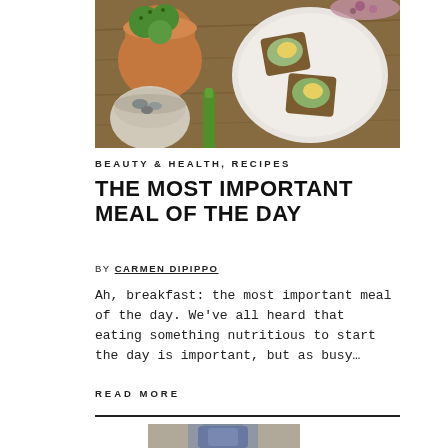[Figure (photo): Overhead view of a food spread on a wooden table: a white plate with toast topped with avocado and egg, a terracotta pot with green cacti, a small bowl with stones/succulents, and a green vegetable stalk.]
BEAUTY & HEALTH, RECIPES
THE MOST IMPORTANT MEAL OF THE DAY
BY CARMEN DIPIPPO
Ah, breakfast: the most important meal of the day. We've all heard that eating something nutritious to start the day is important, but as busy…
READ MORE
[Figure (photo): Partial view of a person sitting, cropped at the top of the page section, showing jeans and hands resting on knees.]